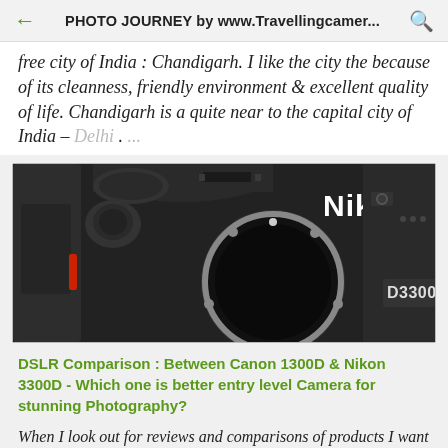PHOTO JOURNEY by www.Travellingcamer...
free city of India : Chandigarh. I like the city the because of its cleanness, friendly environment & excellent quality of life. Chandigarh is a quite near to the capital city of India – Delhi . ...
[Figure (photo): Close-up front view of a black Nikon D3300 DSLR camera body showing the lens mount, hot shoe, mode dial, and Nikon logo in white text on the top.]
DSLR Comparison : Between Canon 1300D & Nikon 3300D - Which one is better entry level Camera for stunning Photography?
When I look out for reviews and comparisons of products I want to buy, I find it difficult to read long posts which compare things